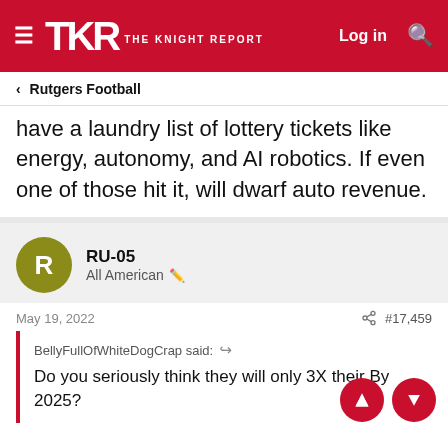TKR THE KNIGHT REPORT
< Rutgers Football
have a laundry list of lottery tickets like energy, autonomy, and AI robotics. If even one of those hit it, will dwarf auto revenue.
RU-05
All American
May 19, 2022  #17,459
BellyFullOfWhiteDogCrap said:
Do you seriously think they will only 3X their B...y 2025?